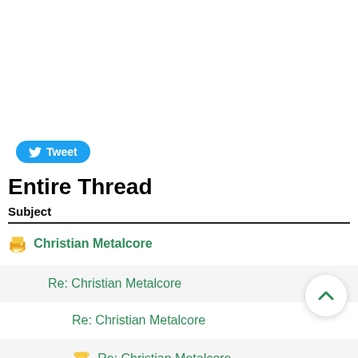[Figure (logo): Twitter Tweet button with bird icon]
Entire Thread
Subject
🖨 Christian Metalcore
Re: Christian Metalcore
Re: Christian Metalcore
🏆 Re: Christian Metalcore
Re: Christian Metalcore
Re: Christian Metalcore